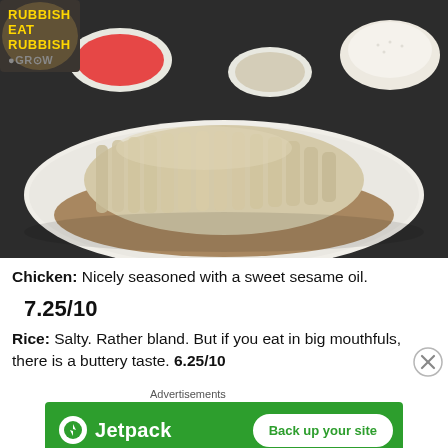[Figure (photo): Photo of sliced Hainanese chicken on a white oval plate with brown sauce/broth, bowls of chili sauce and condiments in the background, and a mound of rice. Logo text 'RUBBISH EAT RUBBISH GROW' in yellow visible top-left corner.]
Chicken: Nicely seasoned with a sweet sesame oil.
7.25/10
Rice: Salty. Rather bland. But if you eat in big mouthfuls, there is a buttery taste. 6.25/10
[Figure (infographic): Jetpack advertisement banner: green background, Jetpack logo with lightning bolt icon, 'Jetpack' text, and 'Back up your site' white button. 'Advertisements' label above.]